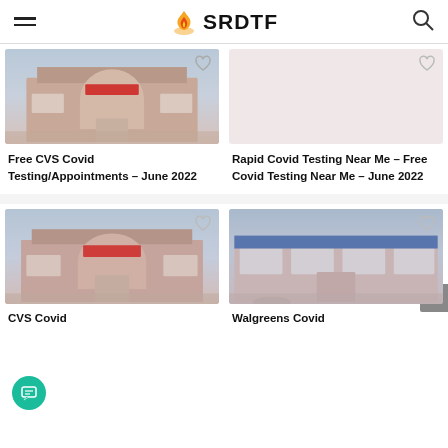SRDTF
[Figure (photo): Exterior photo of a CVS pharmacy building with reddish brick facade and illuminated storefront at dusk]
Free CVS Covid Testing/Appointments – June 2022
[Figure (photo): Placeholder image area with heart/like icon overlay — second article image not fully loaded]
Rapid Covid Testing Near Me – Free Covid Testing Near Me – June 2022
[Figure (photo): Exterior photo of CVS pharmacy building similar to first image, reddish brick facade at dusk]
CVS Covid
[Figure (photo): Exterior photo of a Walgreens pharmacy building with blue and red signage at dusk]
Walgreens Covid